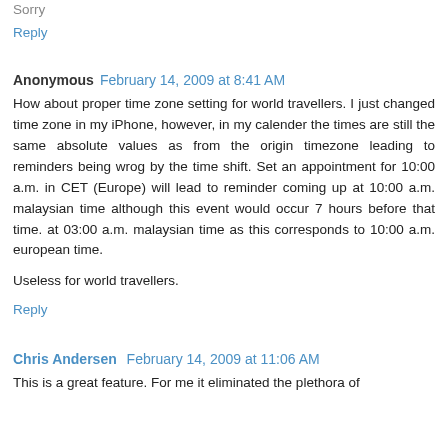Sorry
Reply
Anonymous  February 14, 2009 at 8:41 AM
How about proper time zone setting for world travellers. I just changed time zone in my iPhone, however, in my calender the times are still the same absolute values as from the origin timezone leading to reminders being wrog by the time shift. Set an appointment for 10:00 a.m. in CET (Europe) will lead to reminder coming up at 10:00 a.m. malaysian time although this event would occur 7 hours before that time. at 03:00 a.m. malaysian time as this corresponds to 10:00 a.m. european time.
Useless for world travellers.
Reply
Chris Andersen  February 14, 2009 at 11:06 AM
This is a great feature. For me it eliminated the plethora of